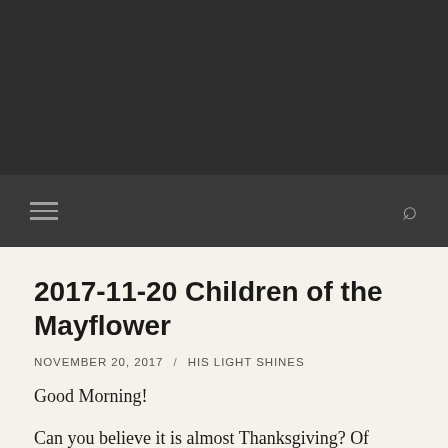2017-11-20 Children of the Mayflower
NOVEMBER 20, 2017 / HIS LIGHT SHINES
Good Morning!
Can you believe it is almost Thanksgiving? Of course, we should be preparing our hearts for a day set aside to thank our Lord for his provision, as we should every day